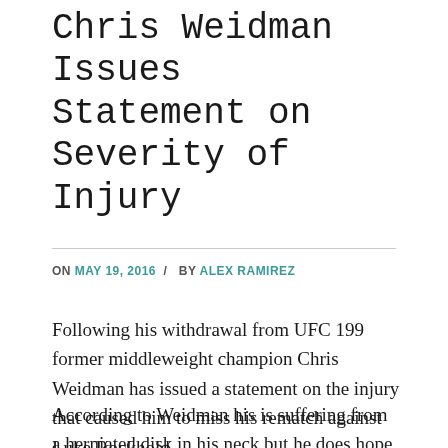Chris Weidman Issues Statement on Severity of Injury
ON MAY 19, 2016 / BY ALEX RAMIREZ
Following his withdrawal from UFC 199 former middleweight champion Chris Weidman has issued a statement on the injury that caused him to miss his rematch against Luke Rockhold.
According to Weidman his is suffering from a herniated disk in his neck but he does hope to return for the UFC's debut in New York sometime this